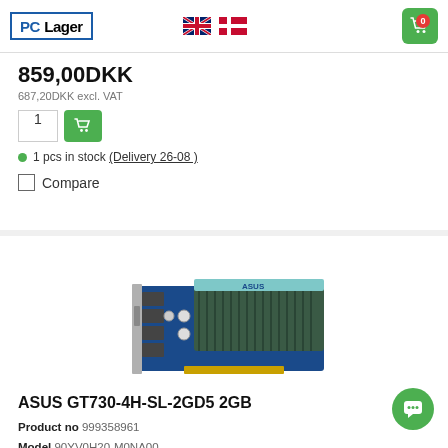[Figure (logo): PC Lager logo in blue border box]
[Figure (illustration): UK and Denmark flag icons for language selection]
[Figure (illustration): Green shopping cart icon with badge showing 0]
859,00DKK
687,20DKK excl. VAT
1 pcs in stock (Delivery 26-08 )
Compare
[Figure (photo): ASUS GT730-4H-SL-2GD5 2GB graphics card product photo showing blue PCB with large dark green heatsink and 4 HDMI ports]
ASUS GT730-4H-SL-2GD5 2GB
Product no 999358961
Model 90YV0H20-M0NA00